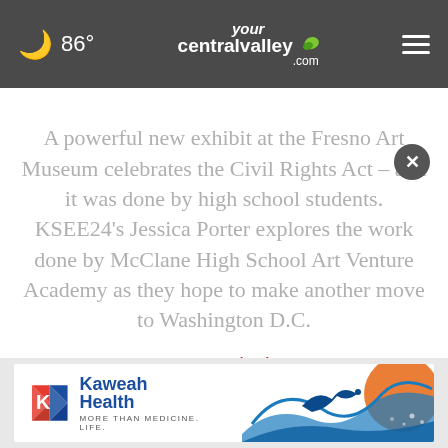🌙 86° yourcentralvalley.com ≡
A powerful new exhibit at the Fresno Art Museum celebrates the Civil Rights Act – and it was done by high school students. KSEE24's Jessica Porter explores the work done by McClane High School Art Venture Academy as they hope to make another move to Washington D.C.
By JESSICA PORTER | February 20, 2017
[Figure (screenshot): Kaweah Health advertisement banner with logo and tagline 'MORE THAN MEDICINE. LIFE.' with decorative bird imagery on right side]